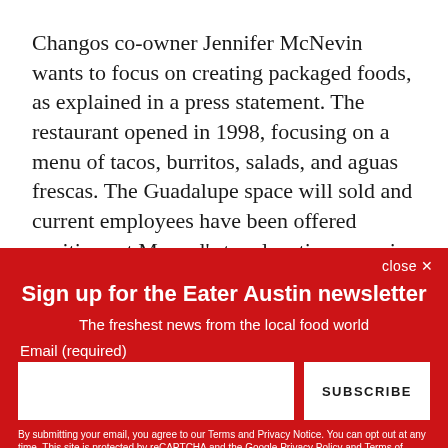Changos co-owner Jennifer McNevin wants to focus on creating packaged foods, as explained in a press statement. The restaurant opened in 1998, focusing on a menu of tacos, burritos, salads, and aguas frescas. The Guadalupe space will sold and current employees have been offered positions at Manuel's two locations, one in downtown and one up in the Arboretum.
Sign up for the Eater Austin newsletter
The freshest news from the local food world
Email (required)
SUBSCRIBE
By submitting your email, you agree to our Terms and Privacy Notice. You can opt out at any time. This site is protected by reCAPTCHA and the Google Privacy Policy and Terms of Service apply.